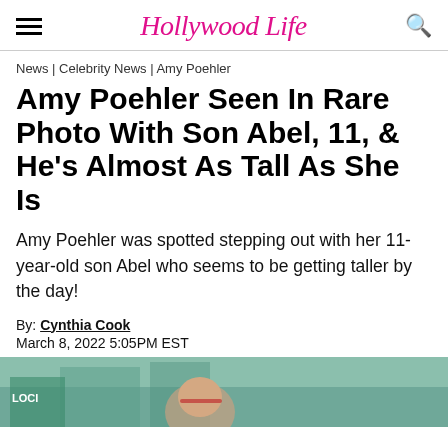Hollywood Life
News | Celebrity News | Amy Poehler
Amy Poehler Seen In Rare Photo With Son Abel, 11, & He's Almost As Tall As She Is
Amy Poehler was spotted stepping out with her 11-year-old son Abel who seems to be getting taller by the day!
By: Cynthia Cook
March 8, 2022 5:05PM EST
[Figure (photo): Partial photo showing a person wearing sunglasses, partially visible at bottom of page]